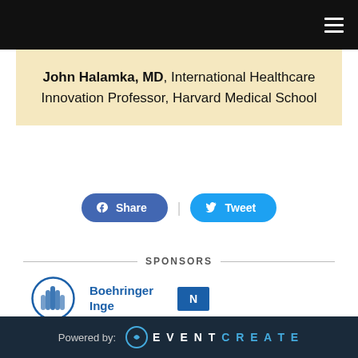Navigation bar with hamburger menu icon
John Halamka, MD, International Healthcare Innovation Professor, Harvard Medical School
[Figure (other): Share and Tweet social media buttons]
SPONSORS
[Figure (logo): Boehringer Ingelheim sponsor logo and partial second sponsor logo]
Powered by: EVENTCREATE